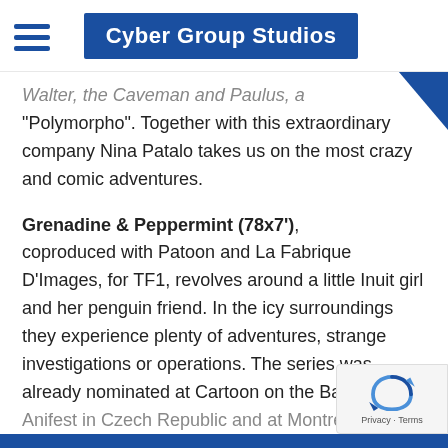Cyber Group Studios
Walter, the Caveman and Paulus, a "Polymorpho". Together with this extraordinary company Nina Patalo takes us on the most crazy and comic adventures.
Grenadine & Peppermint (78x7'),
coproduced with Patoon and La Fabrique D'Images, for TF1, revolves around a little Inuit girl and her penguin friend. In the icy surroundings they experience plenty of adventures, strange investigations or operations. The series was already nominated at Cartoon on the Bay in Italy, Anifest in Czech Republic and at Montreuil